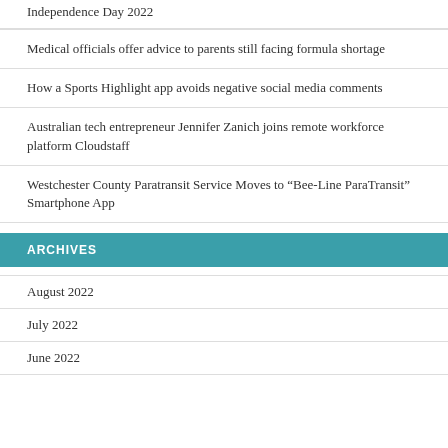Independence Day 2022
Medical officials offer advice to parents still facing formula shortage
How a Sports Highlight app avoids negative social media comments
Australian tech entrepreneur Jennifer Zanich joins remote workforce platform Cloudstaff
Westchester County Paratransit Service Moves to “Bee-Line ParaTransit” Smartphone App
ARCHIVES
August 2022
July 2022
June 2022